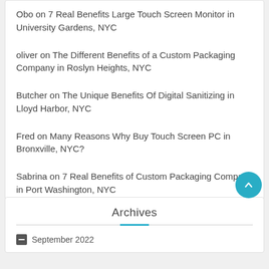Obo on 7 Real Benefits Large Touch Screen Monitor in University Gardens, NYC
oliver on The Different Benefits of a Custom Packaging Company in Roslyn Heights, NYC
Butcher on The Unique Benefits Of Digital Sanitizing in Lloyd Harbor, NYC
Fred on Many Reasons Why Buy Touch Screen PC in Bronxville, NYC?
Sabrina on 7 Real Benefits of Custom Packaging Company in Port Washington, NYC
Archives
September 2022